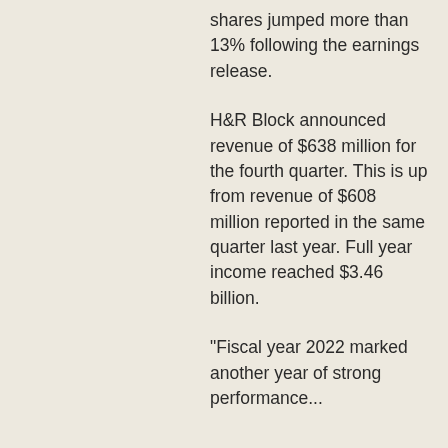shares jumped more than 13% following the earnings release.
H&R Block announced revenue of $638 million for the fourth quarter. This is up from revenue of $608 million reported in the same quarter last year. Full year income reached $3.46 billion.
"Fiscal year 2022 marked another year of strong performance...